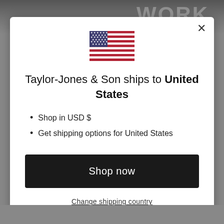[Figure (screenshot): Background dark image with text 'WORK' partially visible at top]
[Figure (illustration): US flag emoji/illustration inside modal dialog]
Taylor-Jones & Son ships to United States
Shop in USD $
Get shipping options for United States
Shop now
Change shipping country